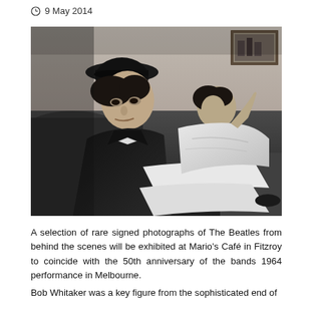9 May 2014
[Figure (photo): Black and white photograph of two young men relaxing on a sofa. The man in the foreground wears a dark military-style cap and jacket, sitting with legs stretched out. A second man reclines in the background with arms raised, wearing a white shirt. A framed picture is visible on the wall in the top right corner.]
A selection of rare signed photographs of The Beatles from behind the scenes will be exhibited at Mario's Café in Fitzroy to coincide with the 50th anniversary of the bands 1964 performance in Melbourne.
Bob Whitaker was a key figure from the sophisticated end of